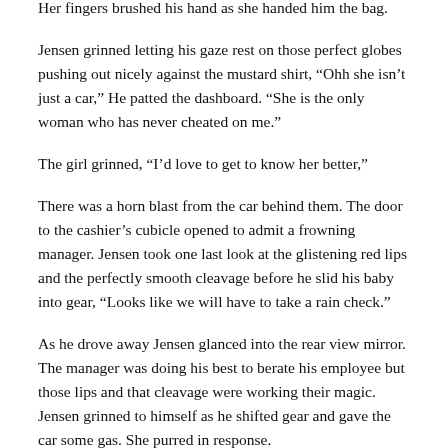Her fingers brushed his hand as she handed him the bag.
Jensen grinned letting his gaze rest on those perfect globes pushing out nicely against the mustard shirt, “Ohh she isn’t just a car,” He patted the dashboard. “She is the only woman who has never cheated on me.”
The girl grinned, “I’d love to get to know her better,”
There was a horn blast from the car behind them. The door to the cashier’s cubicle opened to admit a frowning manager. Jensen took one last look at the glistening red lips and the perfectly smooth cleavage before he slid his baby into gear, “Looks like we will have to take a rain check.”
As he drove away Jensen glanced into the rear view mirror. The manager was doing his best to berate his employee but those lips and that cleavage were working their magic. Jensen grinned to himself as he shifted gear and gave the car some gas. She purred in response.